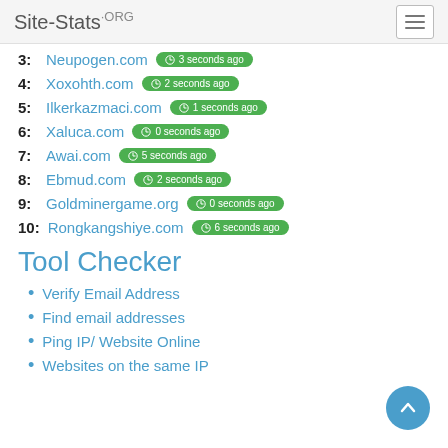Site-Stats.ORG
3: Neupogen.com — 3 seconds ago
4: Xoxohth.com — 2 seconds ago
5: Ilkerkazmaci.com — 1 seconds ago
6: Xaluca.com — 0 seconds ago
7: Awai.com — 5 seconds ago
8: Ebmud.com — 2 seconds ago
9: Goldminergame.org — 0 seconds ago
10: Rongkangshiye.com — 6 seconds ago
Tool Checker
Verify Email Address
Find email addresses
Ping IP/ Website Online
Websites on the same IP